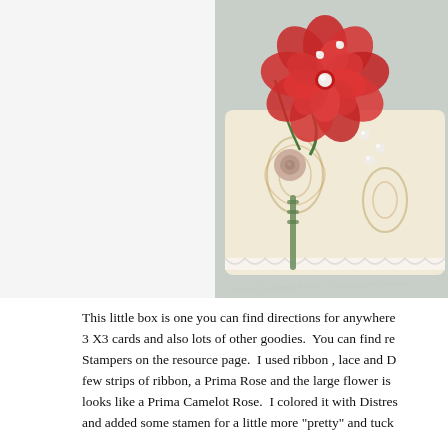[Figure (photo): A decorated box with floral embellishments including large red flowers, a small pink rose, green ribbon, pearls, and lace trim. The box surface has a floral/damask pattern in gold and cream tones. Watermark reads 'created by Glenda Brooks....glendabrooks.blogsp...']
This little box is one you can find directions for anywhere... 3 X3 cards and also lots of other goodies. You can find re... Stampers on the resource page. I used ribbon , lace and D... few strips of ribbon, a Prima Rose and the large flower is... looks like a Prima Camelot Rose. I colored it with Distres... and added some stamen for a little more "pretty" and tuck...